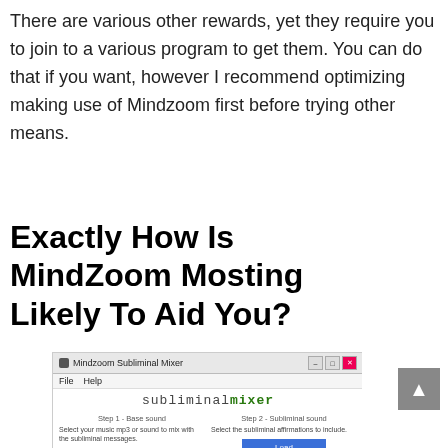There are various other rewards, yet they require you to join to a various program to get them. You can do that if you want, however I recommend optimizing making use of Mindzoom first before trying other means.
Exactly How Is MindZoom Mosting Likely To Aid You?
[Figure (screenshot): Screenshot of the Mindzoom Subliminal Mixer application window showing File and Help menus, 'subliminal mixer' title in monospace font, Step 1 - Base sound section with Load button and '10.1 Remember You.mp3' filename, Step 2 - Subliminal sound section with Load button and 'Subliminal affirmations' text, and Step 3 - Add Binaural or Isochronic Beats at the bottom.]